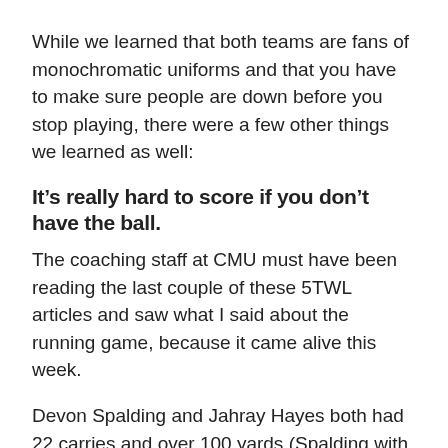While we learned that both teams are fans of monochromatic uniforms and that you have to make sure people are down before you stop playing, there were a few other things we learned as well:
It’s really hard to score if you don’t have the ball.
The coaching staff at CMU must have been reading the last couple of these 5TWL articles and saw what I said about the running game, because it came alive this week.
Devon Spalding and Jahray Hayes both had 22 carries and over 100 yards (Spalding with 122 yards, Hayes with 105 yards) on the ground, running all over the ragged Huskies defense for a touchdown apiece.